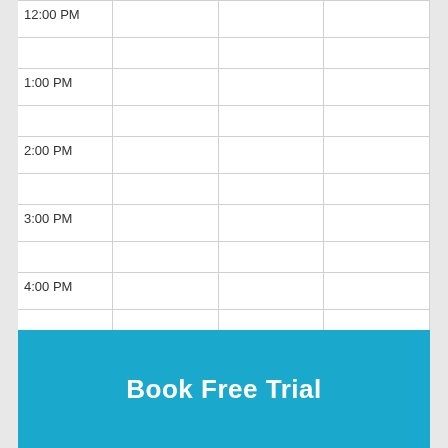| Time | Col1 | Col2 | Col3 |
| --- | --- | --- | --- |
| 12:00 PM |  |  |  |
|  |  |  |  |
| 1:00 PM |  |  |  |
|  |  |  |  |
| 2:00 PM |  |  |  |
|  |  |  |  |
| 3:00 PM |  |  |  |
|  |  |  |  |
| 4:00 PM |  |  |  |
|  |  |  |  |
| 5:00 PM |  |  |  |
|  |  |  |  |
| 6:00 PM |  |  |  |
|  |  |  |  |
| 7:00 PM |  |  |  |
Book Free Trial